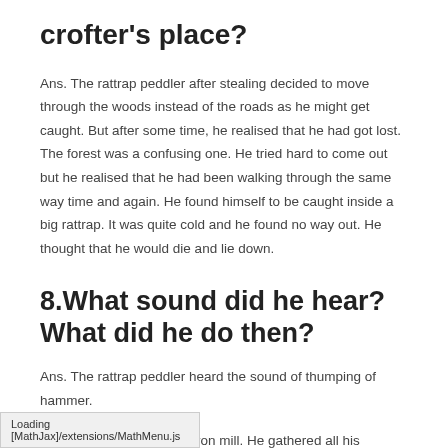crofter's place?
Ans. The rattrap peddler after stealing decided to move through the woods instead of the roads as he might get caught. But after some time, he realised that he had got lost. The forest was a confusing one. He tried hard to come out but he realised that he had been walking through the same way time and again. He found himself to be caught inside a big rattrap. It was quite cold and he found no way out. He thought that he would die and lie down.
8.What sound did he hear? What did he do then?
Ans. The rattrap peddler heard the sound of thumping of hammer.
It seemed to be from any iron mill. He gathered all his strength and moved in the direction of the sound.
Loading [MathJax]/extensions/MathMenu.js